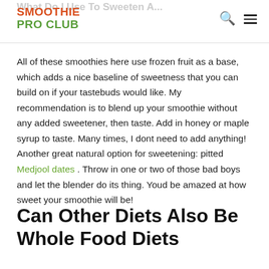SMOOTHIE PRO CLUB
All of these smoothies here use frozen fruit as a base, which adds a nice baseline of sweetness that you can build on if your tastebuds would like. My recommendation is to blend up your smoothie without any added sweetener, then taste. Add in honey or maple syrup to taste. Many times, I dont need to add anything! Another great natural option for sweetening: pitted Medjool dates . Throw in one or two of those bad boys and let the blender do its thing. Youd be amazed at how sweet your smoothie will be!
Can Other Diets Also Be Whole Food Diets